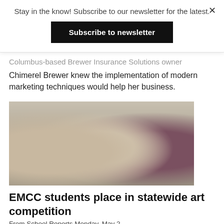Stay in the know! Subscribe to our newsletter for the latest.
Subscribe to newsletter
Columbus-based Brewer Insurance Solutions owner Chimerel Brewer knew the implementation of modern marketing techniques would help her business.
[Figure (photo): Three young women standing together outdoors, smiling at the camera. The woman on the left wears a gray sweatshirt, the woman in the middle wears a white graphic tee, and the woman on the right wears a purple hoodie.]
EMCC students place in statewide art competition
From School Reports Monday, May 2